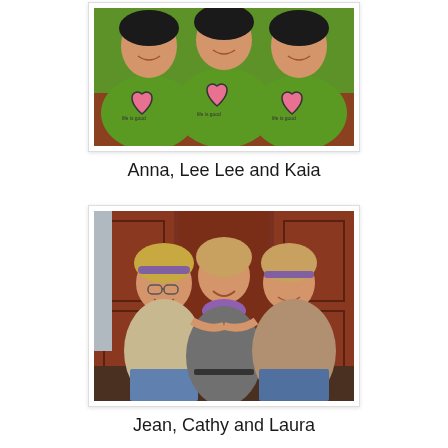[Figure (photo): Three young girls wearing matching green 'Life is Good' long-sleeve shirts with pink heart designs, posing together smiling.]
Anna, Lee Lee and Kaia
[Figure (photo): Three adult women sitting together and smiling in front of dark red wooden cabinets. Left woman has glasses, all three have arms around each other.]
Jean, Cathy and Laura